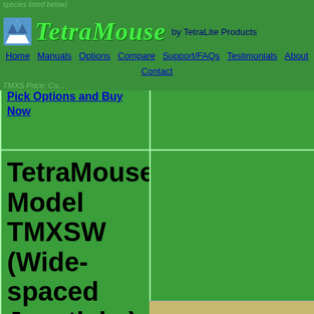species listed below)
[Figure (logo): TetraMouse logo: mountain/W shape icon in blue and white, with italic green bold text 'TetraMouse' and 'by TetraLite Products' in dark blue]
Home  Manuals  Options  Compare  Support/FAQs  Testimonials  About  Contact
TMXS Price: Co...
Pick Options and Buy Now
TetraMouse Model TMXSW (Wide-spaced Joysticks)